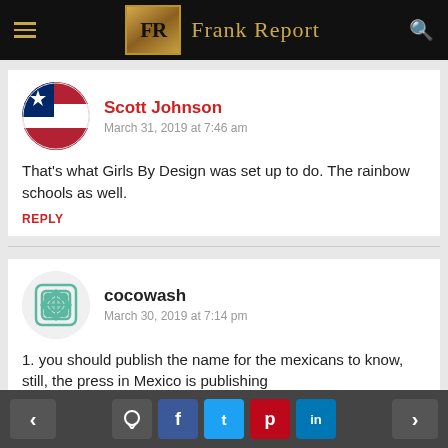Frank Report
Scott Johnson
March 31, 2019 at 7:46 am
That's what Girls By Design was set up to do. The rainbow schools as well.
REPLY
cocowash
March 30, 2019 at 7:14 pm
1. you should publish the name for the mexicans to know, still, the press in Mexico is publishing
< comment f t p in >